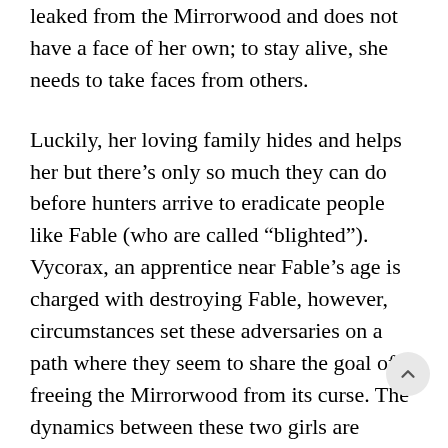leaked from the Mirrorwood and does not have a face of her own; to stay alive, she needs to take faces from others.
Luckily, her loving family hides and helps her but there’s only so much they can do before hunters arrive to eradicate people like Fable (who are called “blighted”). Vycorax, an apprentice near Fable’s age is charged with destroying Fable, however, circumstances set these adversaries on a path where they seem to share the goal of freeing the Mirrorwood from its curse. The dynamics between these two girls are tensely portrayed.
One of my favorite characters is Fable’s fearless cat, Moth, who accompanies her into any situation, able to communicate with her telepathically. Cat people will appreciate Moth’s perfectly catty lines as he adventures along with